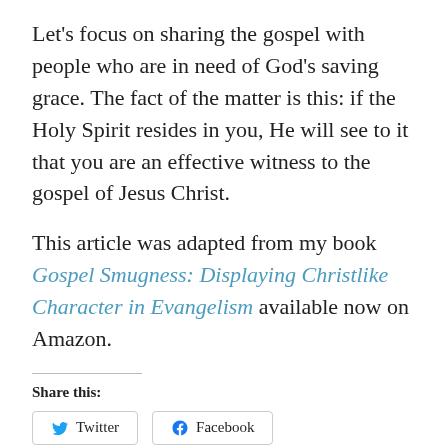Let's focus on sharing the gospel with people who are in need of God's saving grace. The fact of the matter is this: if the Holy Spirit resides in you, He will see to it that you are an effective witness to the gospel of Jesus Christ.
This article was adapted from my book Gospel Smugness: Displaying Christlike Character in Evangelism available now on Amazon.
Share this:
Twitter
Facebook